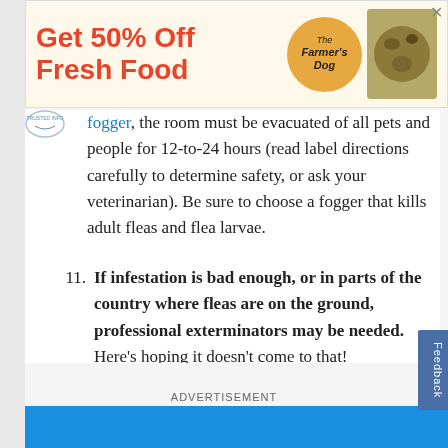[Figure (other): Advertisement banner: 'Get 50% Off Fresh Food' with The Farmer's Dog logo badge and food image]
fogger, the room must be evacuated of all pets and people for 12-to-24 hours (read label directions carefully to determine safety, or ask your veterinarian). Be sure to choose a fogger that kills adult fleas and flea larvae.
11. If infestation is bad enough, or in parts of the country where fleas are on the ground, professional exterminators may be needed. Here's hoping it doesn't come to that!
ADVERTISEMENT
[Figure (other): Blue advertisement bar at bottom]